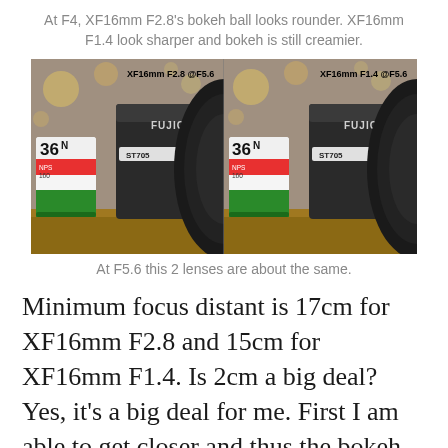At F4, XF16mm F2.8's bokeh ball looks rounder. XF16mm F1.4 look sharper and bokeh is still creamier.
[Figure (photo): Side-by-side comparison photos of a Fujifilm camera at XF16mm F2.8 @F5.6 (left) and XF16mm F1.4 @F5.6 (right), each showing a camera body with a 36-exposure film canister in the foreground on a wooden surface.]
At F5.6 this 2 lenses are about the same.
Minimum focus distant is 17cm for XF16mm F2.8 and 15cm for XF16mm F1.4. Is 2cm a big deal? Yes, it's a big deal for me. First I am able to get closer and thus the bokeh effect will